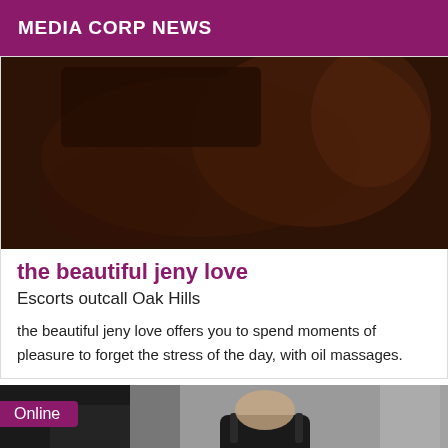MEDIA CORP NEWS
[Figure (photo): Dark, dimly lit bedroom photo with brown and dark tones]
the beautiful jeny love
Escorts outcall Oak Hills
the beautiful jeny love offers you to spend moments of pleasure to forget the stress of the day, with oil massages.
[Figure (photo): Person wearing a black dress standing indoors, with an Online badge overlay]